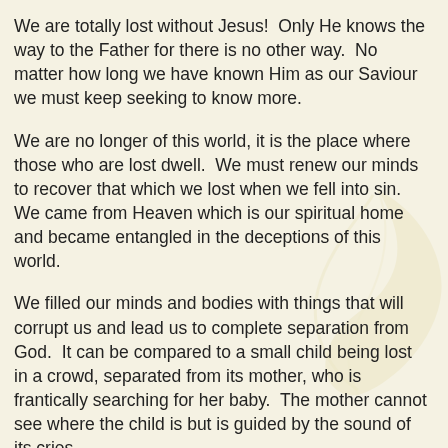We are totally lost without Jesus!  Only He knows the way to the Father for there is no other way.  No matter how long we have known Him as our Saviour we must keep seeking to know more.
We are no longer of this world, it is the place where those who are lost dwell.  We must renew our minds to recover that which we lost when we fell into sin.  We came from Heaven which is our spiritual home and became entangled in the deceptions of this world.
We filled our minds and bodies with things that will corrupt us and lead us to complete separation from God.  It can be compared to a small child being lost in a crowd, separated from its mother, who is frantically searching for her baby.  The mother cannot see where the child is but is guided by the sound of its cries.
When we become separated from God, He is searching to hear that cry.  The moment we know we are truly lost is when we cry out to Him.  And He hears and sends people across our path who know Him and can guide the lost child back to